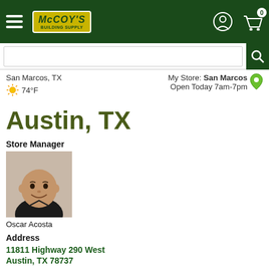[Figure (screenshot): McCoy's Building Supply website header with hamburger menu, logo, account icon, and cart (0 items) on dark green background]
San Marcos, TX
☀ 74°F
My Store: San Marcos
Open Today 7am-7pm
Austin, TX
Store Manager
[Figure (photo): Headshot of store manager Oscar Acosta, bald man smiling in black shirt]
Oscar Acosta
Address
11811 Highway 290 West
Austin, TX 78737